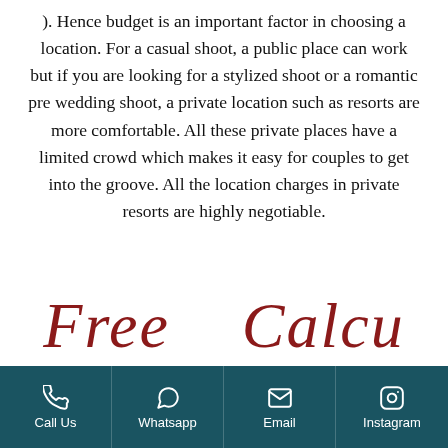). Hence budget is an important factor in choosing a location. For a casual shoot, a public place can work but if you are looking for a stylized shoot or a romantic pre wedding shoot, a private location such as resorts are more comfortable. All these private places have a limited crowd which makes it easy for couples to get into the groove. All the location charges in private resorts are highly negotiable.
Free Calcu...
Call Us | Whatsapp | Email | Instagram